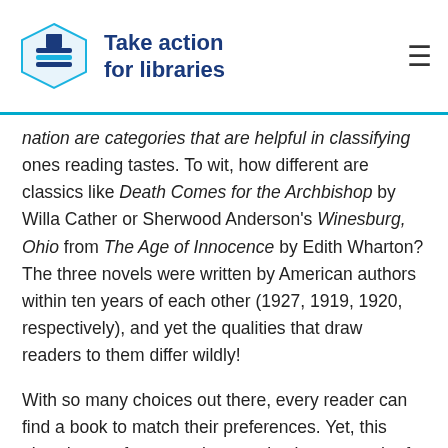Take action for libraries
nation are categories that are helpful in classifying ones reading tastes. To wit, how different are classics like Death Comes for the Archbishop by Willa Cather or Sherwood Anderson's Winesburg, Ohio from The Age of Innocence by Edith Wharton? The three novels were written by American authors within ten years of each other (1927, 1919, 1920, respectively), and yet the qualities that draw readers to them differ wildly!
With so many choices out there, every reader can find a book to match their preferences. Yet, this abundance of opportunity can also be too much of a good thing. How does a willing reader sift through the stacks to find the book that is right for them? Have no fear, there are ways. Read on...
Discovering Your